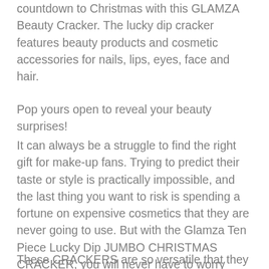countdown to Christmas with this GLAMZA Beauty Cracker. The lucky dip cracker features beauty products and cosmetic accessories for nails, lips, eyes, face and hair.
Pop yours open to reveal your beauty surprises!
It can always be a struggle to find the right gift for make-up fans. Trying to predict their taste or style is practically impossible, and the last thing you want to risk is spending a fortune on expensive cosmetics that they are never going to use. But with the Glamza Ten Piece Lucky Dip JUMBO CHRISTMAS CRACKER, you will never have to worry about such issues again!
These CRACKERS are so versatile that they can be used